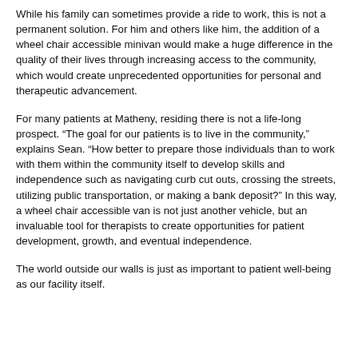While his family can sometimes provide a ride to work, this is not a permanent solution. For him and others like him, the addition of a wheel chair accessible minivan would make a huge difference in the quality of their lives through increasing access to the community, which would create unprecedented opportunities for personal and therapeutic advancement.
For many patients at Matheny, residing there is not a life-long prospect. "The goal for our patients is to live in the community," explains Sean. "How better to prepare those individuals than to work with them within the community itself to develop skills and independence such as navigating curb cut outs, crossing the streets, utilizing public transportation, or making a bank deposit?" In this way, a wheel chair accessible van is not just another vehicle, but an invaluable tool for therapists to create opportunities for patient development, growth, and eventual independence.
The world outside our walls is just as important to patient well-being as our facility itself.